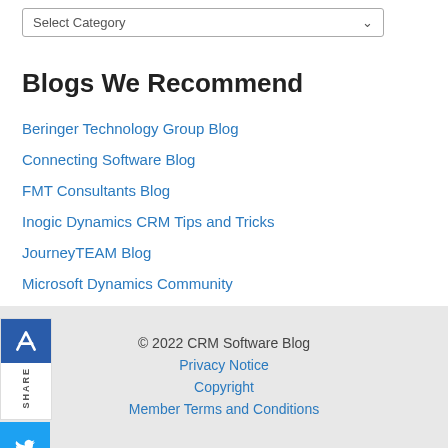Select Category
Blogs We Recommend
Beringer Technology Group Blog
Connecting Software Blog
FMT Consultants Blog
Inogic Dynamics CRM Tips and Tricks
JourneyTEAM Blog
Microsoft Dynamics Community
MS Dynamics World - CRM
Strava Tech Group Blog
© 2022 CRM Software Blog
Privacy Notice
Copyright
Member Terms and Conditions